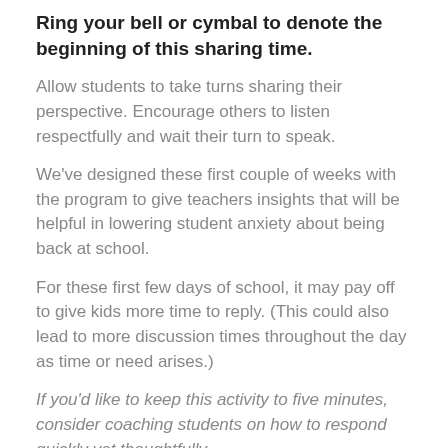Ring your bell or cymbal to denote the beginning of this sharing time.
Allow students to take turns sharing their perspective. Encourage others to listen respectfully and wait their turn to speak.
We've designed these first couple of weeks with the program to give teachers insights that will be helpful in lowering student anxiety about being back at school.
For these first few days of school, it may pay off to give kids more time to reply. (This could also lead to more discussion times throughout the day as time or need arises.)
If you'd like to keep this activity to five minutes, consider coaching students on how to respond quickly yet thoughtfully.
Ring your bell or cymbal to denote the end of